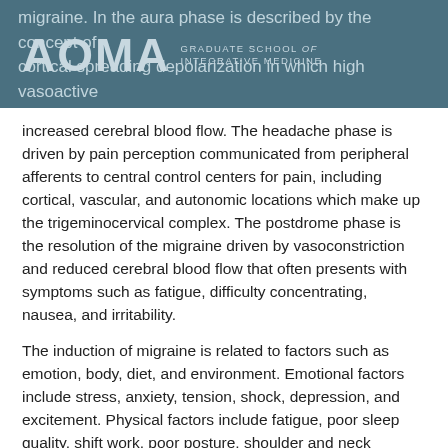AOMA Graduate School of Integrative Medicine — header with overlay text about migraine phases and high vasoactive substances released, resulting in increased cerebral blood flow.
increased cerebral blood flow. The headache phase is driven by pain perception communicated from peripheral afferents to central control centers for pain, including cortical, vascular, and autonomic locations which make up the trigeminocervical complex. The postdrome phase is the resolution of the migraine driven by vasoconstriction and reduced cerebral blood flow that often presents with symptoms such as fatigue, difficulty concentrating, nausea, and irritability.
The induction of migraine is related to factors such as emotion, body, diet, and environment. Emotional factors include stress, anxiety, tension, shock, depression, and excitement. Physical factors include fatigue, poor sleep quality, shift work, poor posture, shoulder and neck tension, and strenuous exercise beyond daily capacity. Dietary factors include irregular diet, dehydration, drinking alcohol, intake of caffeine, certain cheeses, chocolate, foods containing tyramine, including bacon, yeast extracts, pickled herring, smoked fish, etc. It is recommended to avoid